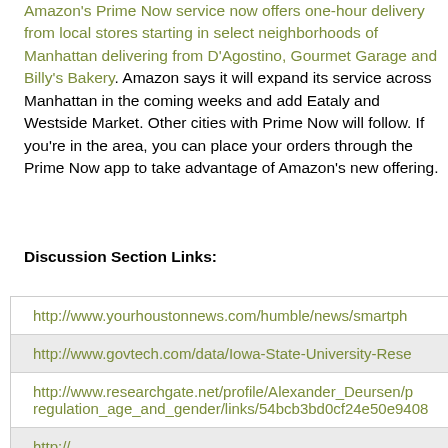Amazon's Prime Now service now offers one-hour delivery from local stores starting in select neighborhoods of Manhattan delivering from D'Agostino, Gourmet Garage and Billy's Bakery. Amazon says it will expand its service across Manhattan in the coming weeks and add Eataly and Westside Market. Other cities with Prime Now will follow. If you're in the area, you can place your orders through the Prime Now app to take advantage of Amazon's new offering.
Discussion Section Links:
http://www.yourhoustonnews.com/humble/news/smartph
http://www.govtech.com/data/Iowa-State-University-Rese
http://www.researchgate.net/profile/Alexander_Deursen/p regulation_age_and_gender/links/54bcb3bd0cf24e50e9408
http://...